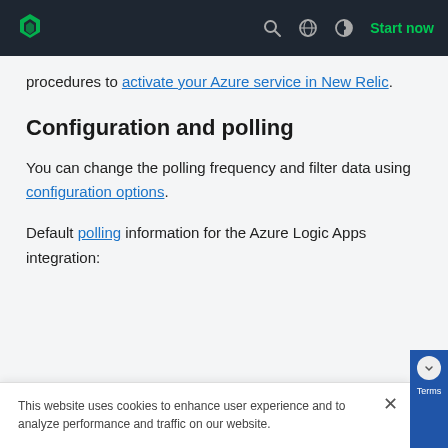New Relic navigation bar with logo, search, globe, contrast, and Start now link
procedures to activate your Azure service in New Relic.
Configuration and polling
You can change the polling frequency and filter data using configuration options.
Default polling information for the Azure Logic Apps integration:
This website uses cookies to enhance user experience and to analyze performance and traffic on our website.